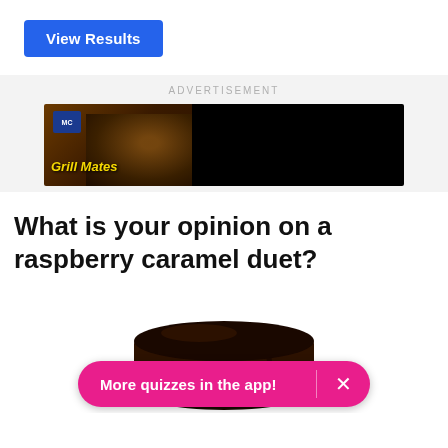View Results
ADVERTISEMENT
[Figure (photo): McCormick Grill Mates advertisement banner showing grilled meat with the Grill Mates logo and brand name on the left side, black background on the right side.]
What is your opinion on a raspberry caramel duet?
[Figure (photo): Close-up photo of a chocolate-glazed dessert (brownie or cake) at the bottom of the page]
More quizzes in the app!